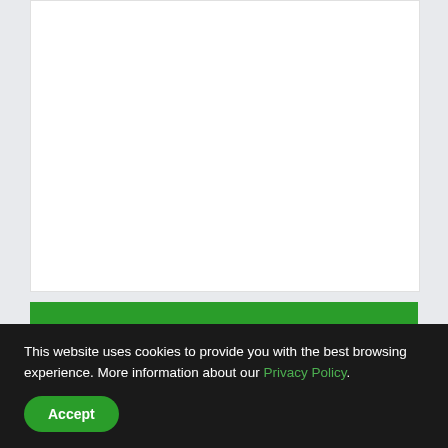[Figure (other): White content card area at top of page]
FEATURES
COSPLAY
This website uses cookies to provide you with the best browsing experience. More information about our Privacy Policy.
Accept